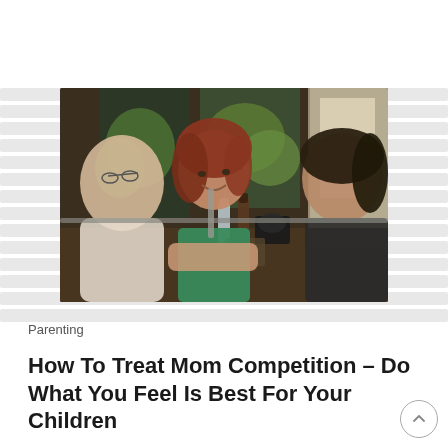[Figure (photo): Three women sitting at a restaurant table. The woman in the center has red hair, wears a green top, and smiles. The woman on the left has glasses. The woman on the right has dark hair and wears a dark sleeveless top. Background shows glass panels with green plants behind.]
Parenting
How To Treat Mom Competition – Do What You Feel Is Best For Your Children